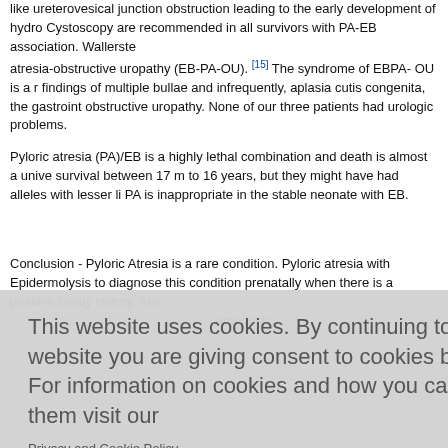like ureterovesical junction obstruction leading to the early development of hydro Cystoscopy are recommended in all survivors with PA-EB association. Wallerste atresia-obstructive uropathy (EB-PA-OU). [15] The syndrome of EBPA- OU is a r findings of multiple bullae and infrequently, aplasia cutis congenita, the gastroint obstructive uropathy. None of our three patients had urologic problems.
Pyloric atresia (PA)/EB is a highly lethal combination and death is almost a unive survival between 17 m to 16 years, but they might have had alleles with lesser li PA is inappropriate in the stable neonate with EB.
Conclusion - Pyloric Atresia is a rare condition. Pyloric atresia with Epidermolysis to diagnose this condition prenatally when there is a positive family history. Also atment sh
[Figure (screenshot): Cookie consent overlay popup with text: 'This website uses cookies. By continuing to use this website you are giving consent to cookies being used. For information on cookies and how you can disable them visit our' with a link 'Privacy and Cookie Policy.' and a red button 'AGREE & PROCEED']
ssociated w . X-ray she ccumbed o suggestive Mikulicz py 3 - A 10 day old boy presented with non-bilious vomiting since birth. Child had si distended stomach. At laparotomy there was a narrowed duodenal tract. In view